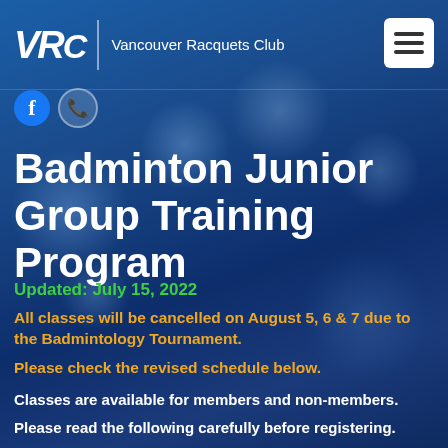VRC | Vancouver Racquets Club
[Figure (logo): VRC logo with stylized italic bold letters and Vancouver Racquets Club text]
Badminton Junior Group Training Program
Updated: July 15, 2022
All classes will be cancelled on August 5, 6 & 7 due to the Badmintology Tournament.
Please check the revised schedule below.
Classes are available for members and non-members.
Please read the following carefully before registering.